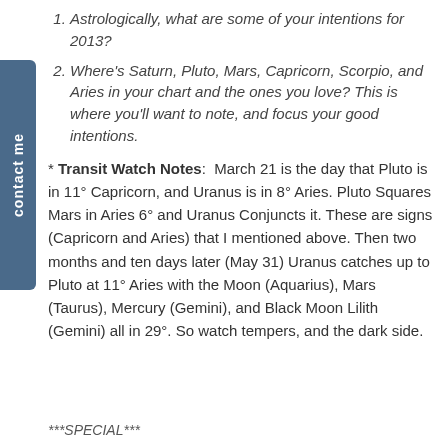Astrologically, what are some of your intentions for 2013?
Where's Saturn, Pluto, Mars, Capricorn, Scorpio, and Aries in your chart and the ones you love? This is where you'll want to note, and focus your good intentions.
* Transit Watch Notes: March 21 is the day that Pluto is in 11° Capricorn, and Uranus is in 8° Aries. Pluto Squares Mars in Aries 6° and Uranus Conjuncts it. These are signs (Capricorn and Aries) that I mentioned above. Then two months and ten days later (May 31) Uranus catches up to Pluto at 11° Aries with the Moon (Aquarius), Mars (Taurus), Mercury (Gemini), and Black Moon Lilith (Gemini) all in 29°. So watch tempers, and the dark side.
***SPECIAL***